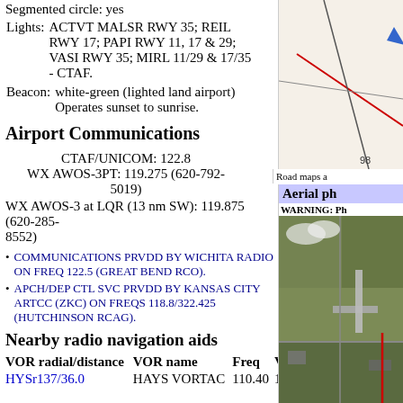Segmented circle: yes
Lights: ACTVT MALSR RWY 35; REIL RWY 17; PAPI RWY 11, 17 & 29; VASI RWY 35; MIRL 11/29 & 17/35 - CTAF.
Beacon: white-green (lighted land airport) Operates sunset to sunrise.
Airport Communications
CTAF/UNICOM: 122.8
WX AWOS-3PT: 119.275 (620-792-5019)
WX AWOS-3 at LQR (13 nm SW): 119.875 (620-285-8552)
COMMUNICATIONS PRVDD BY WICHITA RADIO ON FREQ 122.5 (GREAT BEND RCO).
APCH/DEP CTL SVC PRVDD BY KANSAS CITY ARTCC (ZKC) ON FREQS 118.8/322.425 (HUTCHINSON RCAG).
Nearby radio navigation aids
| VOR radial/distance | VOR name | Freq | Var |
| --- | --- | --- | --- |
| HYSr137/36.0 | HAYS VORTAC | 110.40 | 10E |
[Figure (map): Airport road map diagram with arrows and route markers]
Road maps a
[Figure (photo): Aerial photograph of airport and surrounding area]